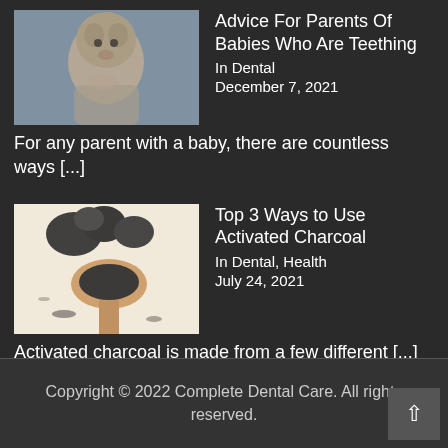[Figure (photo): Baby teething — infant chewing on fingers]
Advice For Parents Of Babies Who Are Teething
In Dental
December 7, 2021
For any parent with a baby, there are countless ways [...]
[Figure (photo): Activated charcoal — black powder in a wooden spoon with charcoal pieces]
Top 3 Ways to Use Activated Charcoal
In Dental, Health
July 24, 2021
Activated charcoal is made from a few different [...]
Copyright © 2022 Complete Dental Care. All rights reserved.